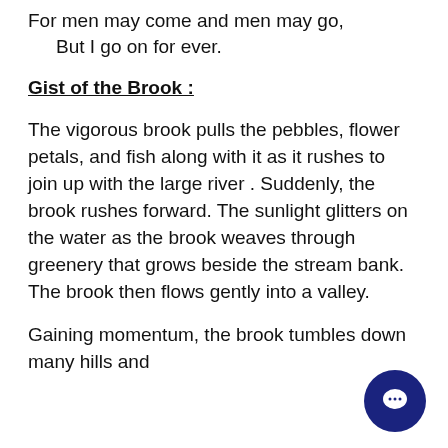For men may come and men may go,
   But I go on for ever.
Gist of the Brook :
The vigorous brook pulls the pebbles, flower petals, and fish along with it as it rushes to join up with the large river . Suddenly, the brook rushes forward. The sunlight glitters on the water as the brook weaves through greenery that grows beside the stream bank. The brook then flows gently into a valley.
Gaining momentum, the brook tumbles down many hills and